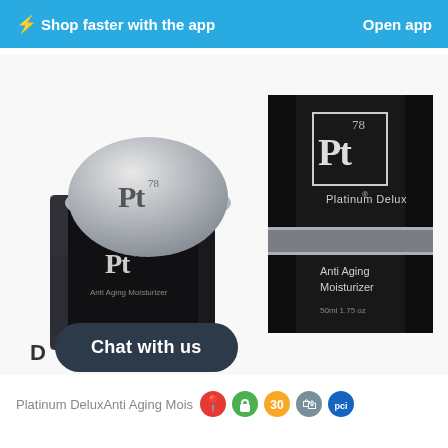⚡Shop faster with the app   Open app
[Figure (photo): Platinum Delux Anti Aging Moisturizer product jar (black and silver, with Pt 78 logo on lid) and product box (black with Pt 78 Platinum Delux logo, Anti Aging Moisturizer text, 50ml 1.75 oz)]
Chat with us
D
Platinum DeluxAnti Aging Mois